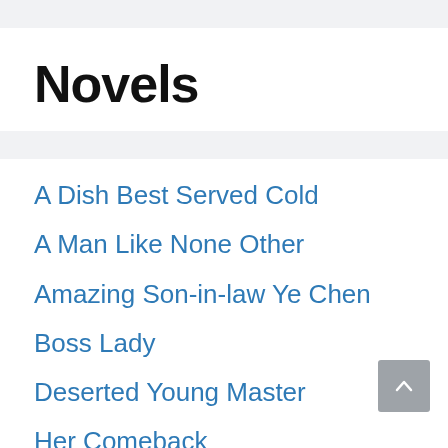Novels
A Dish Best Served Cold
A Man Like None Other
Amazing Son-in-law Ye Chen
Boss Lady
Deserted Young Master
Her Comeback
His True Colors